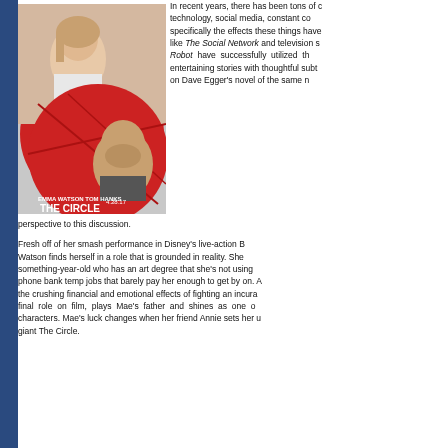[Figure (photo): Movie poster for 'The Circle' featuring Emma Watson and Tom Hanks with release date 4.28.17 on a red circular background]
In recent years, there has been tons of discussion about technology, social media, constant connectivity, and specifically the effects these things have on our lives. Films like The Social Network and television shows like Mr. Robot have successfully utilized these themes to craft entertaining stories with thoughtful subtexts. The Circle, based on Dave Egger's novel of the same name, aims to add its perspective to this discussion.
Fresh off of her smash performance in Disney's live-action Beauty and the Beast, Emma Watson finds herself in a role that is grounded in reality. She plays Mae Holland, a twenty-something-year-old who has an art degree that she's not using and is working a series of phone bank temp jobs that barely pay her enough to get by on. Adding to her stress is watching the crushing financial and emotional effects of fighting an incurable disease. Bill Paxton, in his final role on film, plays Mae's father and shines as one of the film's most sympathetic characters. Mae's luck changes when her friend Annie sets her up with a job at tech giant The Circle.